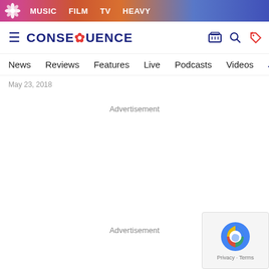MUSIC  FILM  TV  HEAVY
CONSEQUENCE
News  Reviews  Features  Live  Podcasts  Videos  JACK WH
May 23, 2018
Advertisement
Advertisement